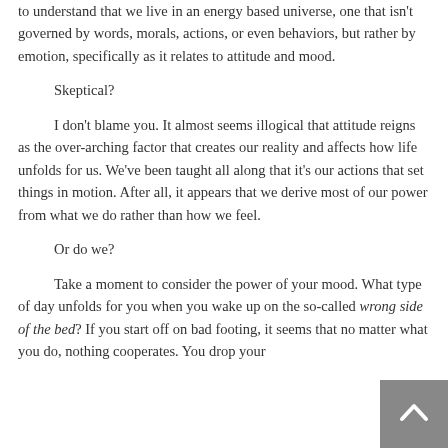to understand that we live in an energy based universe, one that isn't governed by words, morals, actions, or even behaviors, but rather by emotion, specifically as it relates to attitude and mood.
Skeptical?
I don't blame you. It almost seems illogical that attitude reigns as the over-arching factor that creates our reality and affects how life unfolds for us. We've been taught all along that it's our actions that set things in motion. After all, it appears that we derive most of our power from what we do rather than how we feel.
Or do we?
Take a moment to consider the power of your mood. What type of day unfolds for you when you wake up on the so-called wrong side of the bed? If you start off on bad footing, it seems that no matter what you do, nothing cooperates. You drop your